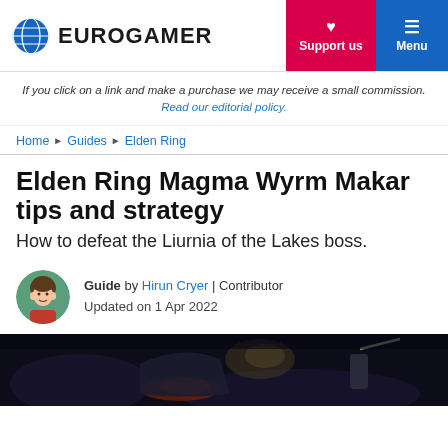EUROGAMER | Support us | Menu
If you click on a link and make a purchase we may receive a small commission. Read our editorial policy.
Home ▶ Guides ▶ Elden Ring
Elden Ring Magma Wyrm Makar tips and strategy
How to defeat the Liurnia of the Lakes boss.
Guide by Hirun Cryer | Contributor
Updated on 1 Apr 2022
[Figure (photo): Dark screenshot of Elden Ring gameplay showing the Magma Wyrm Makar boss encounter]